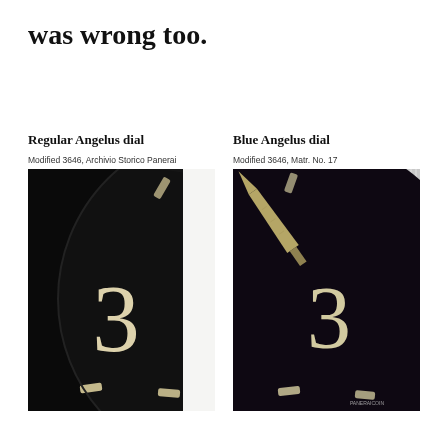was wrong too.
Regular Angelus dial
Modified 3646, Archivio Storico Panerai
[Figure (photo): Close-up macro photograph of a watch dial showing the number 3 in cream/lume against a black background. Left portion of circular dial visible. Hour markers at bottom in cream color.]
Blue Angelus dial
Modified 3646, Matr. No. 17
[Figure (photo): Close-up macro photograph of a watch dial showing the number 3 in cream/lume against a very dark blue/black background. A sword-shaped luminous hand is visible pointing upper-left. Metallic bezel visible on right edge.]